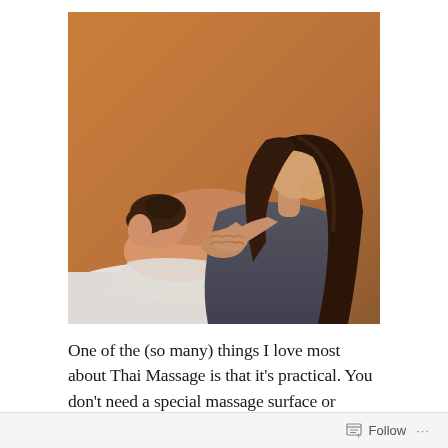[Figure (photo): A massage therapist with long dark hair works on a client lying face down on a massage table. The therapist's hands are on the client's upper back/shoulder area. Warm orange/brown background. The client has dark hair pinned up.]
One of the (so many) things I love most about Thai Massage is that it's practical. You don't need a special massage surface or sheets or oils or any
Follow ···